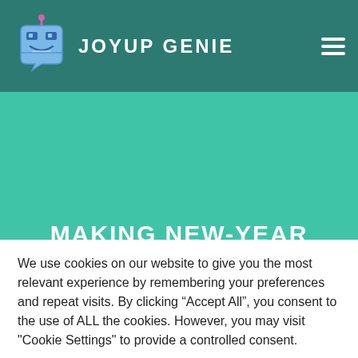JOYUP GENIE
MAKING NEW-YEAR RESOLUTIONS
We use cookies on our website to give you the most relevant experience by remembering your preferences and repeat visits. By clicking “Accept All”, you consent to the use of ALL the cookies. However, you may visit "Cookie Settings" to provide a controlled consent.
Cookie Settings | Accept All